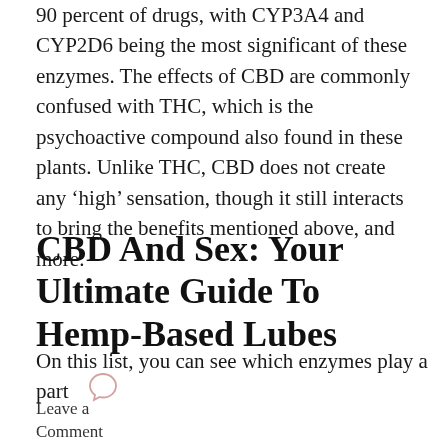90 percent of drugs, with CYP3A4 and CYP2D6 being the most significant of these enzymes. The effects of CBD are commonly confused with THC, which is the psychoactive compound also found in these plants. Unlike THC, CBD does not create any ‘high’ sensation, though it still interacts to bring the benefits mentioned above, and more.
CBD And Sex: Your Ultimate Guide To Hemp-Based Lubes
On this list, you can see which enzymes play a part
Leave a Comment